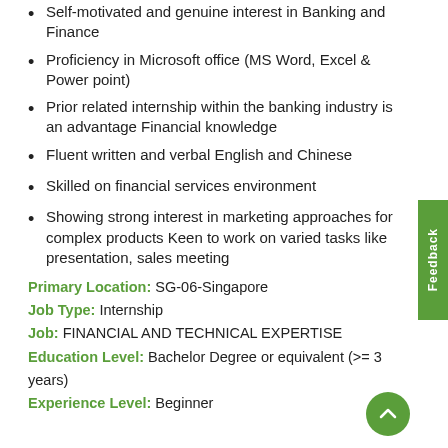Self-motivated and genuine interest in Banking and Finance
Proficiency in Microsoft office (MS Word, Excel & Power point)
Prior related internship within the banking industry is an advantage Financial knowledge
Fluent written and verbal English and Chinese
Skilled on financial services environment
Showing strong interest in marketing approaches for complex products Keen to work on varied tasks like presentation, sales meeting
Primary Location: SG-06-Singapore
Job Type: Internship
Job: FINANCIAL AND TECHNICAL EXPERTISE
Education Level: Bachelor Degree or equivalent (>= 3 years)
Experience Level: Beginner